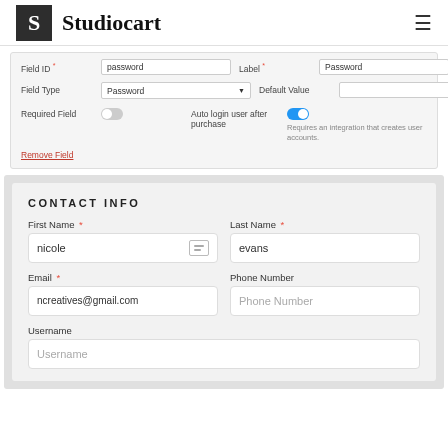Studiocart
[Figure (screenshot): Admin panel form fields: Field ID = password, Label = Password, Field Type = Password (dropdown), Default Value (empty), Required Field toggle (off), Auto login user after purchase toggle (on) with note 'Requires an integration that creates user accounts.', Remove Field link in red]
[Figure (screenshot): Checkout form preview showing CONTACT INFO section with fields: First Name (filled: nicole), Last Name (filled: evans), Email (filled: ncreatives@gmail.com), Phone Number (placeholder), Username (placeholder)]